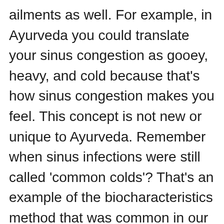ailments as well. For example, in Ayurveda you could translate your sinus congestion as gooey, heavy, and cold because that's how sinus congestion makes you feel. This concept is not new or unique to Ayurveda. Remember when sinus infections were still called 'common colds'? That's an example of the biocharacteristics method that was common in our culture only a few hundred years ago.
To counteract imbalance and restore your health, you should select food using biocharacteristics that are opposite to your disease. The sharpness of